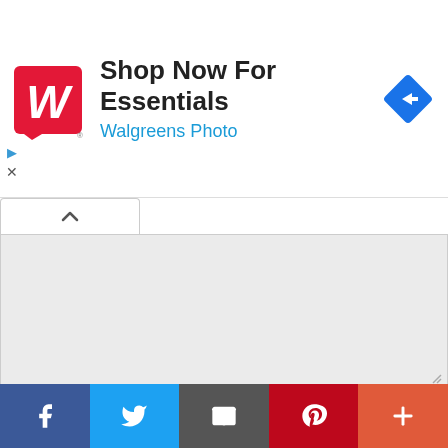[Figure (screenshot): Walgreens Photo advertisement banner with red logo, 'Shop Now For Essentials' heading, 'Walgreens Photo' subtitle in blue, and a blue navigation arrow icon. Small play and close controls on left side.]
[Figure (screenshot): Web comment form interface with a collapse tab (caret up), a large light-gray textarea for comments with resize handle, a Name input field, an Email input field, and a Save my name checkbox row.]
[Figure (screenshot): Social sharing bar at bottom with Facebook (blue), Twitter (light blue), Email (gray), Pinterest (red), and More (orange-red) buttons.]